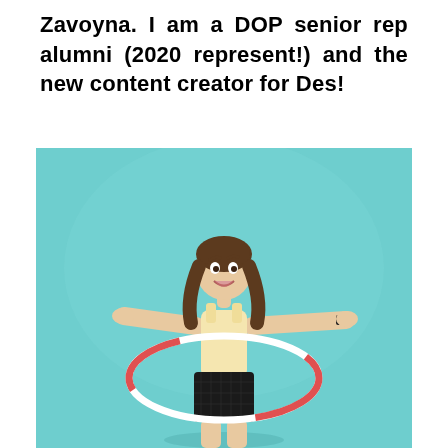Zavoyna. I am a DOP senior rep alumni (2020 represent!) and the new content creator for Des!
[Figure (photo): A young teenage girl with long brown hair, wearing a yellow tank top and black plaid shorts, spinning a hula hoop around her waist with arms outstretched and a big smile, posing against a solid turquoise/teal background.]